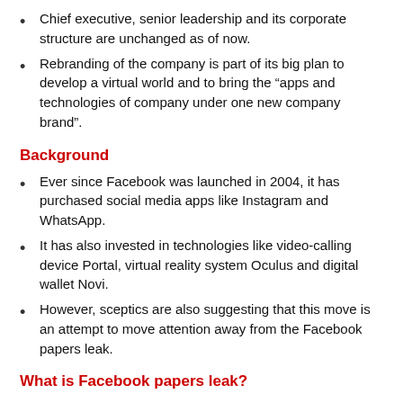Chief executive, senior leadership and its corporate structure are unchanged as of now.
Rebranding of the company is part of its big plan to develop a virtual world and to bring the “apps and technologies of company under one new company brand”.
Background
Ever since Facebook was launched in 2004, it has purchased social media apps like Instagram and WhatsApp.
It has also invested in technologies like video-calling device Portal, virtual reality system Oculus and digital wallet Novi.
However, sceptics are also suggesting that this move is an attempt to move attention away from the Facebook papers leak.
What is Facebook papers leak?